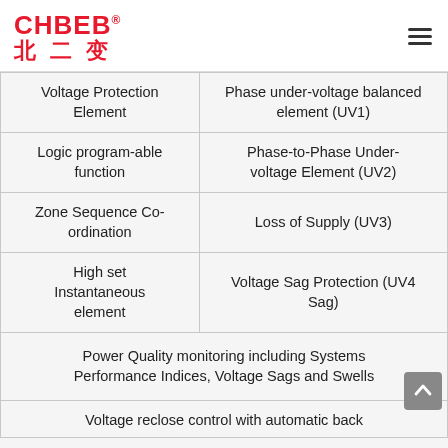[Figure (logo): CHBEB logo with red text and Chinese characters 北二变, plus hamburger menu icon]
| Voltage Protection Element | Phase under-voltage balanced element (UV1) |
| Logic program-able function | Phase-to-Phase Under-voltage Element (UV2) |
| Zone Sequence Co-ordination | Loss of Supply (UV3) |
| High set Instantaneous element | Voltage Sag Protection (UV4 Sag) |
| Power Quality monitoring including Systems Performance Indices, Voltage Sags and Swells |  |
| Voltage reclose control with automatic back |  |